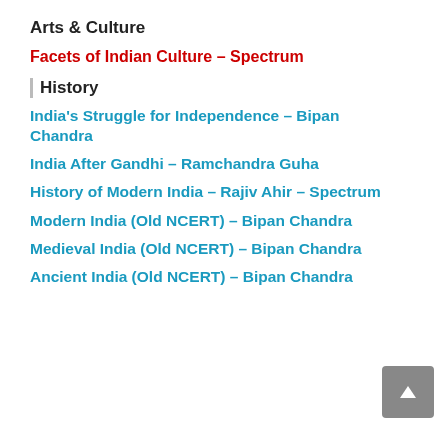Arts & Culture
Facets of Indian Culture – Spectrum
History
India's Struggle for Independence – Bipan Chandra
India After Gandhi – Ramchandra Guha
History of Modern India – Rajiv Ahir – Spectrum
Modern India (Old NCERT) – Bipan Chandra
Medieval India (Old NCERT) – Bipan Chandra
Ancient India (Old NCERT) – Bipan Chandra